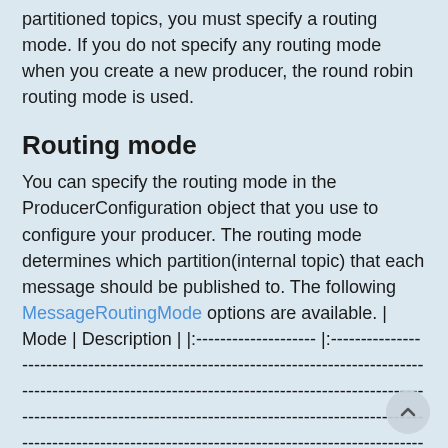partitioned topics, you must specify a routing mode. If you do not specify any routing mode when you create a new producer, the round robin routing mode is used.
Routing mode
You can specify the routing mode in the ProducerConfiguration object that you use to configure your producer. The routing mode determines which partition(internal topic) that each message should be published to. The following MessageRoutingMode options are available. | Mode | Description | |:-------------------- |:------------------------------------------------------------------------ || RoundRobinPartition | If no key is provided, the producer publishes message across all partitions in round-robin policy to achieve maximum throughput. Round-robin is not done per individual messages, batching is set to the